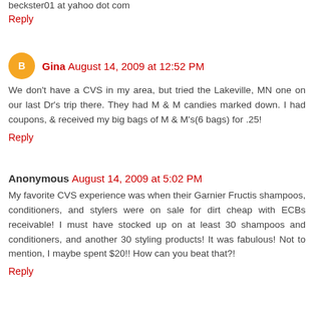beckster01 at yahoo dot com
Reply
Gina  August 14, 2009 at 12:52 PM
We don't have a CVS in my area, but tried the Lakeville, MN one on our last Dr's trip there. They had M & M candies marked down. I had coupons, & received my big bags of M & M's(6 bags) for .25!
Reply
Anonymous  August 14, 2009 at 5:02 PM
My favorite CVS experience was when their Garnier Fructis shampoos, conditioners, and stylers were on sale for dirt cheap with ECBs receivable! I must have stocked up on at least 30 shampoos and conditioners, and another 30 styling products! It was fabulous! Not to mention, I maybe spent $20!! How can you beat that?!
Reply